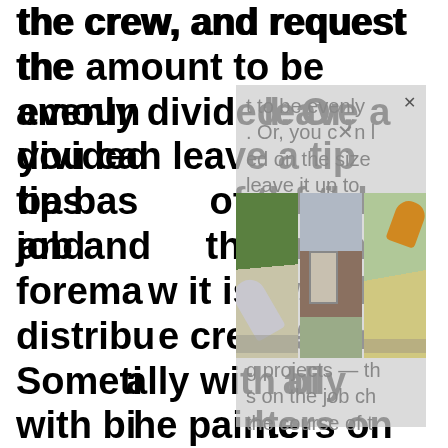the crew, and request the amount to be evenly divided. Or, you can leave a tip based on the size of the job and leave it up to the foreman to show how it is distributed to the crew. Sometimes — especially with big projects — the painters on the job change during the course of the project, so it's often
[Figure (photo): A semi-transparent overlay dialog box with faded gray text reading 'to be evenly divided. Or, you can leave a tip based on the size of the job and leave it up to the painters on the job change during the course of the project' with a close (X) button, overlaid on a strip of three photos showing people doing exterior house painting on ladders and scaffolding.]